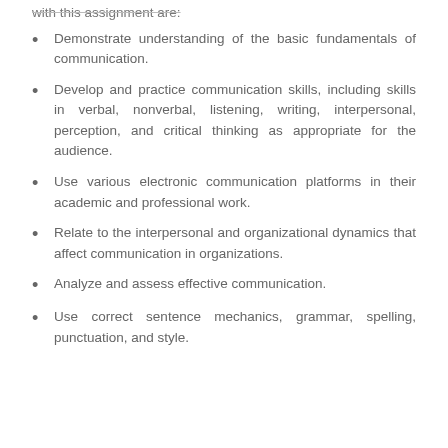with this assignment are:
Demonstrate understanding of the basic fundamentals of communication.
Develop and practice communication skills, including skills in verbal, nonverbal, listening, writing, interpersonal, perception, and critical thinking as appropriate for the audience.
Use various electronic communication platforms in their academic and professional work.
Relate to the interpersonal and organizational dynamics that affect communication in organizations.
Analyze and assess effective communication.
Use correct sentence mechanics, grammar, spelling, punctuation, and style.